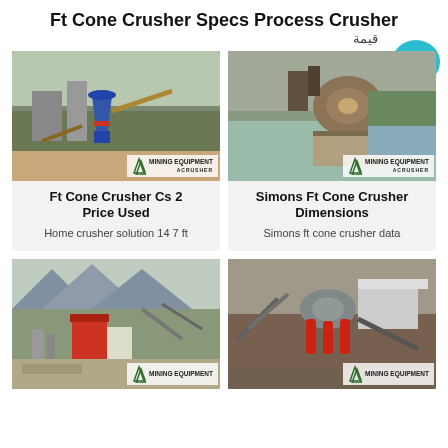Ft Cone Crusher Specs Process Crusher
قيمة
[Figure (photo): Aerial view of mining equipment / cone crusher installation at industrial site with conveyor belts, watermark: MINING EQUIPMENT ACRUSHER]
[Figure (photo): Close-up top-down view of a cone crusher at a mining site near a river, watermark: MINING EQUIPMENT ACRUSHER]
Ft Cone Crusher Cs 2 Price Used
Home crusher solution 14 7 ft
Simons Ft Cone Crusher Dimensions
Simons ft cone crusher data
[Figure (photo): Wide shot of mining/quarry facility with red building, mountains in background, watermark: MINING EQUIPMENT]
[Figure (photo): Industrial cone crusher equipment with red cylinders and conveyor, watermark: MINING EQUIPMENT]